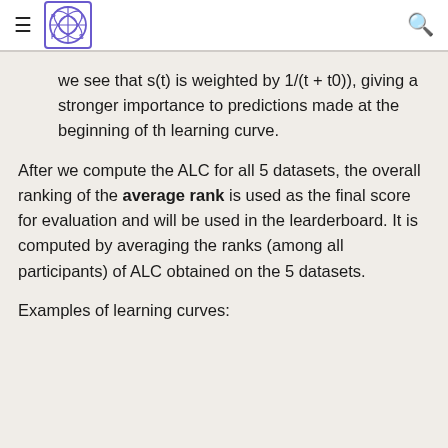≡ [PAAS logo] Q
we see that s(t) is weighted by 1/(t + t0)), giving a stronger importance to predictions made at the beginning of th learning curve.
After we compute the ALC for all 5 datasets, the overall ranking of the average rank is used as the final score for evaluation and will be used in the learderboard. It is computed by averaging the ranks (among all participants) of ALC obtained on the 5 datasets.
Examples of learning curves: